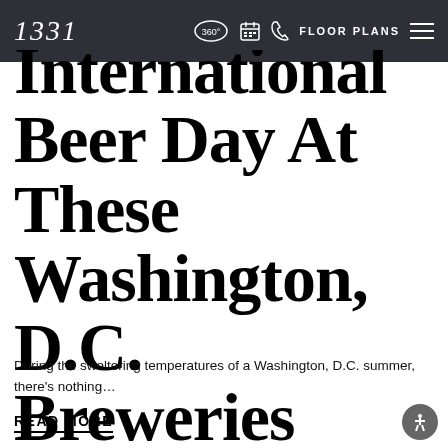1331   360°   FLOOR PLANS
International Beer Day At These Washington, D.C. Breweries
During the sweltering temperatures of a Washington, D.C. summer, there's nothing...
READ MORE